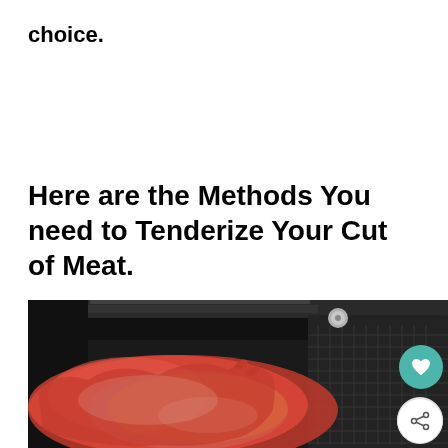choice.
Here are the Methods You need to Tenderize Your Cut of Meat.
[Figure (photo): Raw seasoned meat in a dark roasting pan with a meat tenderizer tool visible, sunlit from above.]